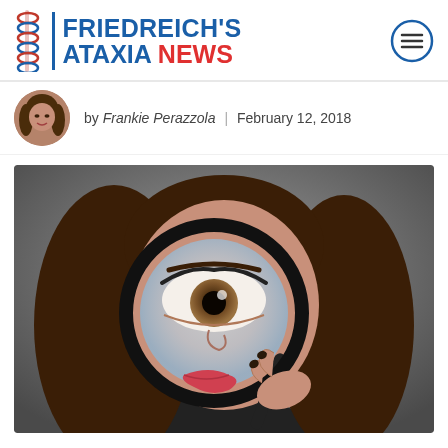FRIEDREICH'S ATAXIA NEWS
by Frankie Perazzola | February 12, 2018
[Figure (photo): Woman holding a large magnifying glass up to her eye, with an enlarged eye visible through the lens. She has long brown hair and red lips. The background is grey.]